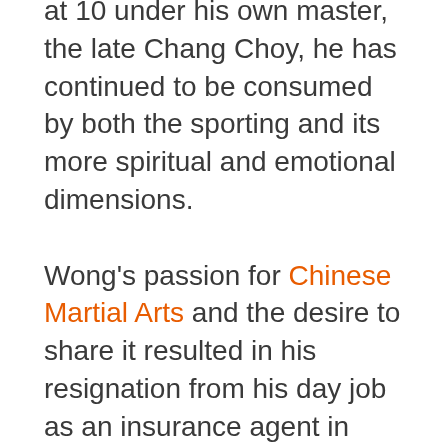at 10 under his own master, the late Chang Choy, he has continued to be consumed by both the sporting and its more spiritual and emotional dimensions.

Wong's passion for Chinese Martial Arts and the desire to share it resulted in his resignation from his day job as an insurance agent in 2000 to become a full time instructor at the Chang